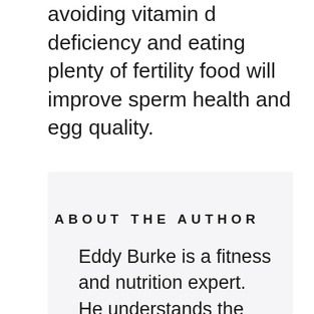avoiding vitamin d deficiency and eating plenty of fertility food will improve sperm health and egg quality.
ABOUT THE AUTHOR
Eddy Burke is a fitness and nutrition expert. He understands the weight loss industry and what elements are needed to live a healthy lifestyle. Eddy's background is very specialist...